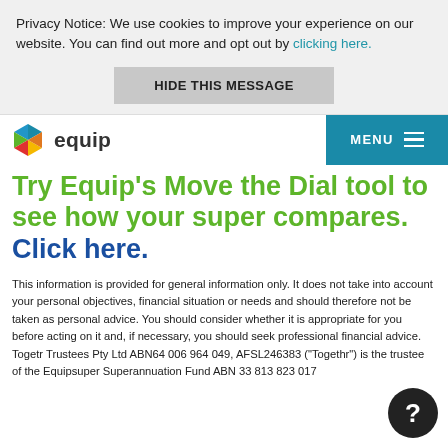Privacy Notice: We use cookies to improve your experience on our website. You can find out more and opt out by clicking here.
HIDE THIS MESSAGE
[Figure (logo): Equip superannuation logo - colourful cube icon with 'equip' text]
MENU
Try Equip's Move the Dial tool to see how your super compares. Click here.
This information is provided for general information only. It does not take into account your personal objectives, financial situation or needs and should therefore not be taken as personal advice. You should consider whether it is appropriate for you before acting on it and, if necessary, you should seek professional financial advice. Together Trustees Pty Ltd ABN64 006 964 049, AFSL246383 ("Togethr") is the trustee of the Equipsuper Superannuation Fund ABN 33 813 823 017 ("Equip" or "The Equip"). For more on our trustee licensing of our